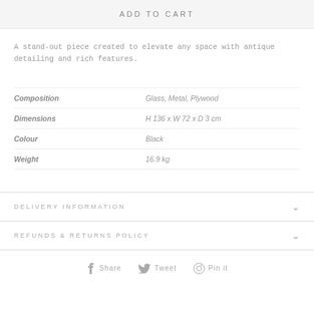ADD TO CART
A stand-out piece created to elevate any space with antique detailing and rich features.
|  |  |
| --- | --- |
| Composition | Glass, Metal, Plywood |
| Dimensions | H 136 x W 72 x D 3 cm |
| Colour | Black |
| Weight | 16.9 kg |
DELIVERY INFORMATION
REFUNDS & RETURNS POLICY
Share  Tweet  Pin it